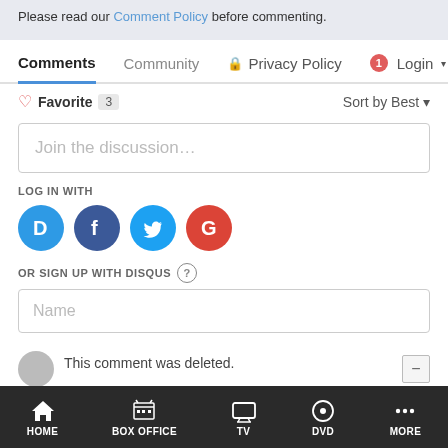Please read our Comment Policy before commenting.
Comments   Community   Privacy Policy   Login
Favorite  3   Sort by Best
Join the discussion…
LOG IN WITH
[Figure (logo): Social login icons: Disqus (blue circle with D), Facebook (dark blue circle with f), Twitter (light blue circle with bird), Google (red circle with G)]
OR SIGN UP WITH DISQUS ?
Name
This comment was deleted.
HOME   BOX OFFICE   TV   DVD   MORE